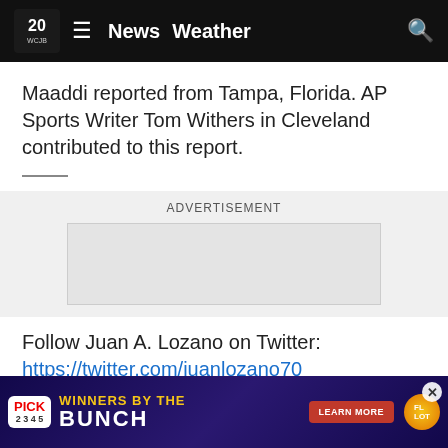20 WCJB News Weather
Maaddi reported from Tampa, Florida. AP Sports Writer Tom Withers in Cleveland contributed to this report.
[Figure (other): Advertisement placeholder box]
Follow Juan A. Lozano on Twitter: https://twitter.com/juanlozano70
More A... https://...
[Figure (other): Bottom banner ad: Pick 2-5 Winners by the Bunch lottery advertisement with Learn More button]